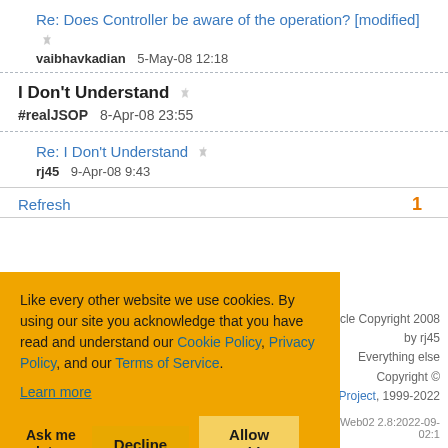Re: Does Controller be aware of the operation? [modified]
vaibhavkadian   5-May-08 12:18
I Don't Understand
#realJSOP   8-Apr-08 23:55
Re: I Don't Understand
rj45   9-Apr-08 9:43
Refresh   1
Like every other website we use cookies. By using our site you acknowledge that you have read and understand our Cookie Policy, Privacy Policy, and our Terms of Service. Learn more
Ask me later   Decline   Allow cookies
Article Copyright 2008 by rj45 Everything else Copyright © odeProject, 1999-2022
Web02 2.8:2022-09-02:1